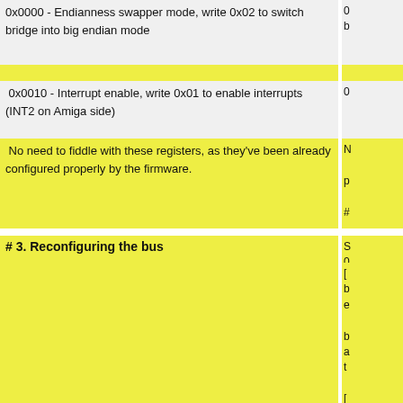0x0000 - Endianness swapper mode, write 0x02 to switch bridge into big endian mode
0x0010 - Interrupt enable, write 0x01 to enable interrupts (INT2 on Amiga side)
No need to fiddle with these registers, as they've been already configured properly by the firmware.
# 3. Reconfiguring the bus